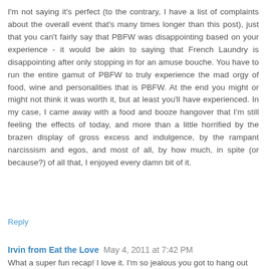I'm not saying it's perfect (to the contrary, I have a list of complaints about the overall event that's many times longer than this post), just that you can't fairly say that PBFW was disappointing based on your experience - it would be akin to saying that French Laundry is disappointing after only stopping in for an amuse bouche. You have to run the entire gamut of PBFW to truly experience the mad orgy of food, wine and personalities that is PBFW. At the end you might or might not think it was worth it, but at least you'll have experienced. In my case, I came away with a food and booze hangover that I'm still feeling the effects of today, and more than a little horrified by the brazen display of gross excess and indulgence, by the rampant narcissism and egos, and most of all, by how much, in spite (or because?) of all that, I enjoyed every damn bit of it.
Reply
Irvin from Eat the Love  May 4, 2011 at 7:42 PM
What a super fun recap! I love it. I'm so jealous you got to hang out and chat afterwards with Sherry Yard and get a